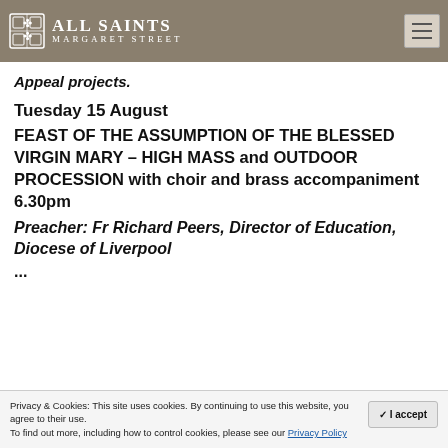ALL SAINTS MARGARET STREET
Appeal projects.
Tuesday 15 August
FEAST OF THE ASSUMPTION OF THE BLESSED VIRGIN MARY – HIGH MASS and OUTDOOR PROCESSION with choir and brass accompaniment 6.30pm
Preacher: Fr Richard Peers, Director of Education, Diocese of Liverpool
...
Privacy & Cookies: This site uses cookies. By continuing to use this website, you agree to their use. To find out more, including how to control cookies, please see our Privacy Policy